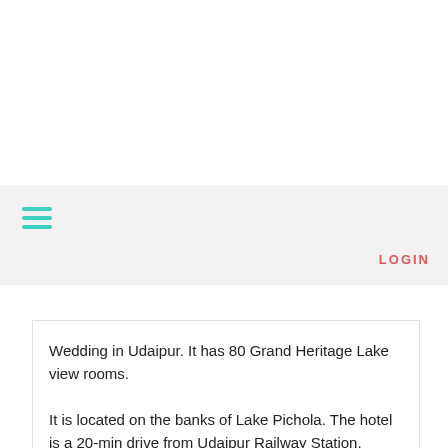[Figure (screenshot): Top white area of a webpage]
≡  LOGIN
Wedding in Udaipur. It has 80 Grand Heritage Lake view rooms.

It is located on the banks of Lake Pichola. The hotel is a 20-min drive from Udaipur Railway Station.